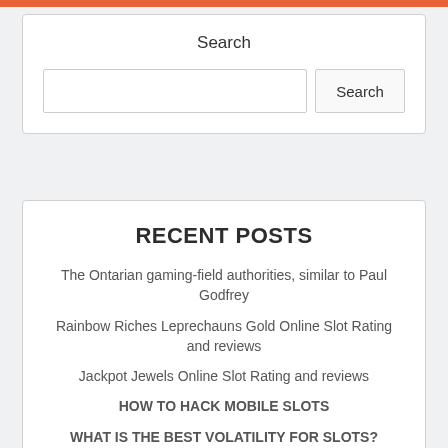Search
RECENT POSTS
The Ontarian gaming-field authorities, similar to Paul Godfrey
Rainbow Riches Leprechauns Gold Online Slot Rating and reviews
Jackpot Jewels Online Slot Rating and reviews
HOW TO HACK MOBILE SLOTS
WHAT IS THE BEST VOLATILITY FOR SLOTS?